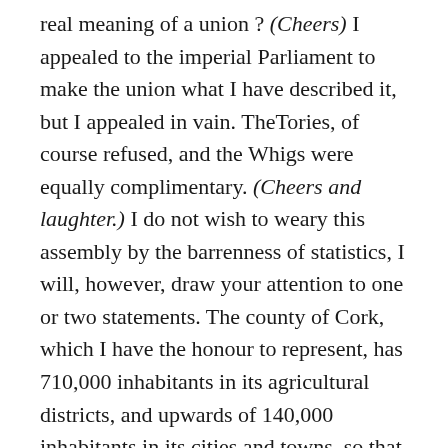real meaning of a union ? (Cheers) I appealed to the imperial Parliament to make the union what I have described it, but I appealed in vain. TheTories, of course refused, and the Whigs were equally complimentary. (Cheers and laughter.) I do not wish to weary this assembly by the barrenness of statistics, I will, however, draw your attention to one or two statements. The county of Cork, which I have the honour to represent, has 710,000 inhabitants in its agricultural districts, and upwards of 140,000 inhabitants in its cities and towns, so that the population of Cork, taken together, amounts to 850,000 inhabitants. Now, the inhabitants of Wales are 800,000, being 50,000 less than the inhabitants of the county of Cork. The county of Cork, with its 850,000 inhabitants, returns just eight members to Parliament – and now many members do you think Wales returns with its